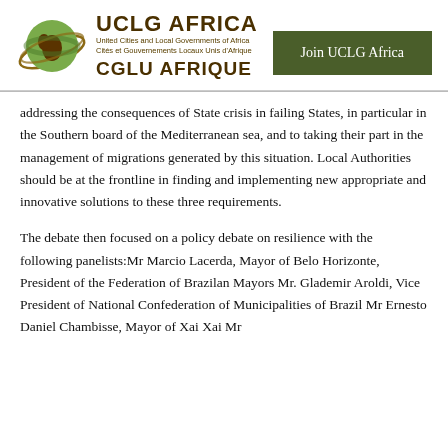[Figure (logo): UCLG Africa / CGLU Afrique logo with globe graphic showing African continent]
Join UCLG Africa
addressing the consequences of State crisis in failing States, in particular in the Southern board of the Mediterranean sea, and to taking their part in the management of migrations generated by this situation. Local Authorities should be at the frontline in finding and implementing new appropriate and innovative solutions to these three requirements.
The debate then focused on a policy debate on resilience with the following panelists:Mr Marcio Lacerda, Mayor of Belo Horizonte, President of the Federation of Brazilan Mayors Mr. Glademir Aroldi, Vice President of National Confederation of Municipalities of Brazil Mr Ernesto Daniel Chambisse, Mayor of Xai Xai Mr